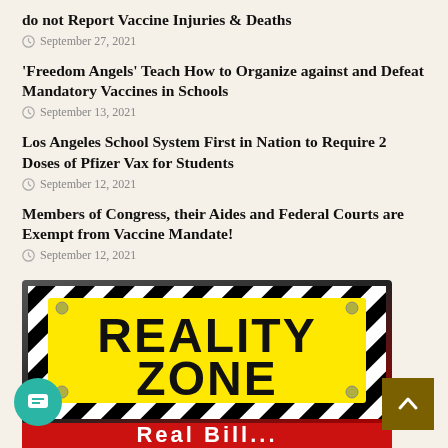do not Report Vaccine Injuries & Deaths
September 27, 2021
'Freedom Angels' Teach How to Organize against and Defeat Mandatory Vaccines in Schools
September 13, 2021
Los Angeles School System First in Nation to Require 2 Doses of Pfizer Vax for Students
September 12, 2021
Members of Congress, their Aides and Federal Courts are Exempt from Vaccine Mandate!
September 12, 2021
[Figure (photo): A 'Reality Zone' sign with bold black text on yellow background, framed by black and white diagonal hazard stripes, with a red banner below partially visible.]